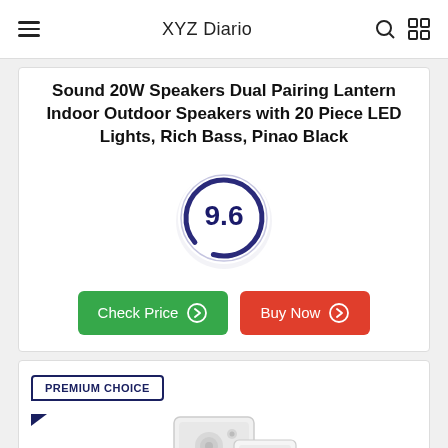XYZ Diario
Sound 20W Speakers Dual Pairing Lantern Indoor Outdoor Speakers with 20 Piece LED Lights, Rich Bass, Pinao Black
[Figure (infographic): Score circle showing 9.6 rating with dark blue arc on light purple/white background]
Check Price   Buy Now
PREMIUM CHOICE
[Figure (photo): White outdoor speakers product image]